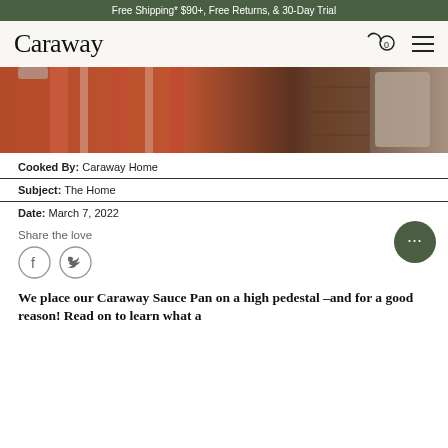Free Shipping* $90+, Free Returns, & 30-Day Trial
[Figure (logo): Caraway logo with cart icon (0 items) and hamburger menu]
[Figure (photo): Close-up photo of orange/coral striped kitchen towels hanging near a sink, with wooden cabinet and tan container in background]
Cooked By: Caraway Home
Subject: The Home
Date: March 7, 2022
Share the love
[Figure (other): Facebook and Twitter social share icons (circular outline buttons)]
We place our Caraway Sauce Pan on a high pedestal –and for a good reason! Read on to learn what a